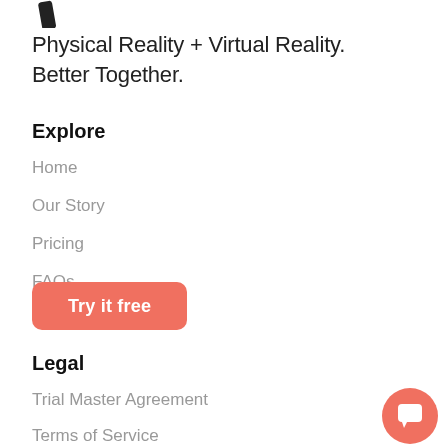[Figure (logo): Partial logo mark — black diagonal shape at top left]
Physical Reality + Virtual Reality. Better Together.
Explore
Home
Our Story
Pricing
FAQs
Try it free
Legal
Trial Master Agreement
Terms of Service
Customer EULA
[Figure (illustration): Chat bubble / messenger icon button in salmon/coral color at bottom right]